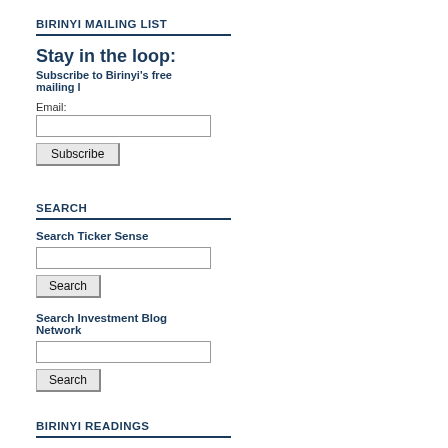BIRINYI MAILING LIST
Stay in the loop:
Subscribe to Birinyi's free mailing l
Email:
Subscribe
SEARCH
Search Ticker Sense
Search
Search Investment Blog Network
Search
BIRINYI READINGS
[Figure (illustration): Book cover for Liar's Poker]